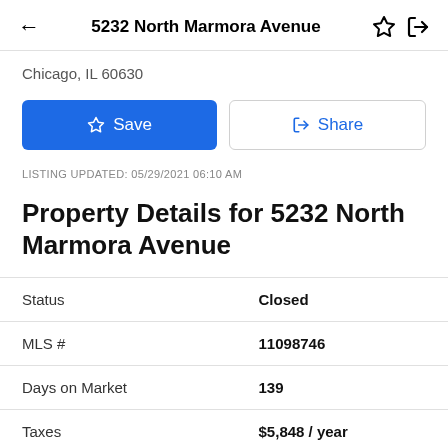5232 North Marmora Avenue
Chicago, IL 60630
Save  Share
LISTING UPDATED: 05/29/2021 06:10 AM
Property Details for 5232 North Marmora Avenue
|  |  |
| --- | --- |
| Status | Closed |
| MLS # | 11098746 |
| Days on Market | 139 |
| Taxes | $5,848 / year |